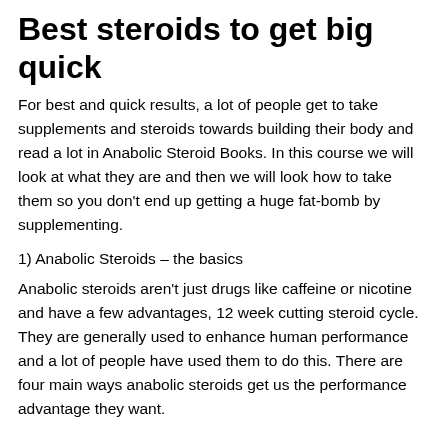Best steroids to get big quick
For best and quick results, a lot of people get to take supplements and steroids towards building their body and read a lot in Anabolic Steroid Books. In this course we will look at what they are and then we will look how to take them so you don’t end up getting a huge fat-bomb by supplementing.
1) Anabolic Steroids – the basics
Anabolic steroids aren't just drugs like caffeine or nicotine and have a few advantages, 12 week cutting steroid cycle. They are generally used to enhance human performance and a lot of people have used them to do this. There are four main ways anabolic steroids get us the performance advantage they want.